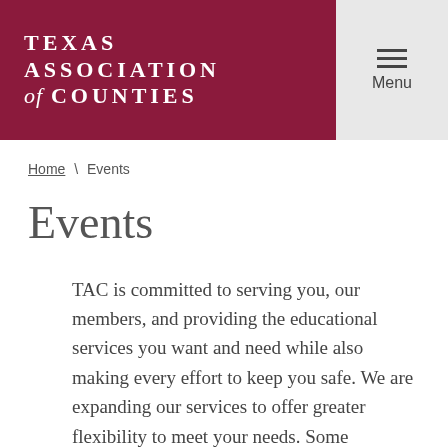Texas Association of Counties | Menu
Home \ Events
Events
TAC is committed to serving you, our members, and providing the educational services you want and need while also making every effort to keep you safe. We are expanding our services to offer greater flexibility to meet your needs. Some conferences and seminars will be held online, some in-person, and others will be hybrid (both in-person and online, you choose).